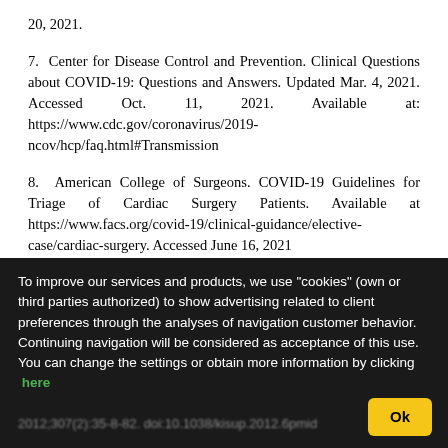20, 2021.
7. Center for Disease Control and Prevention. Clinical Questions about COVID-19: Questions and Answers. Updated Mar. 4, 2021. Accessed Oct. 11, 2021. Available at: https://www.cdc.gov/coronavirus/2019-ncov/hcp/faq.html#Transmission
8. American College of Surgeons. COVID-19 Guidelines for Triage of Cardiac Surgery Patients. Available at https://www.facs.org/covid-19/clinical-guidance/elective-case/cardiac-surgery. Accessed June 16, 2021
9. Kellum JA, Lameire N; KDIGO AKI Guideline Work Group. Diagnosis, evaluation, and management of acute kidney injury. Kidney Int Suppl. 2012;2(1):1. doi:10.1038/kisup.2012.6pmid
To improve our services and products, we use "cookies" (own or third parties authorized) to show advertising related to client preferences through the analyses of navigation customer behavior. Continuing navigation will be considered as acceptance of this use. You can change the settings or obtain more information by clicking here